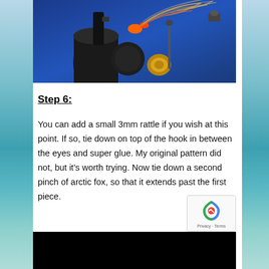[Figure (photo): Close-up photo of a fly fishing lure/fly attached to a fly tying vise, with orange and tan feathers/materials, against a blue background]
Step 6:
You can add a small 3mm rattle if you wish at this point. If so, tie down on top of the hook in between the eyes and super glue. My original pattern did not, but it's worth trying. Now tie down a second pinch of arctic fox, so that it extends past the first piece.
[Figure (photo): Bottom portion of a photo showing a dark/black background, partially visible]